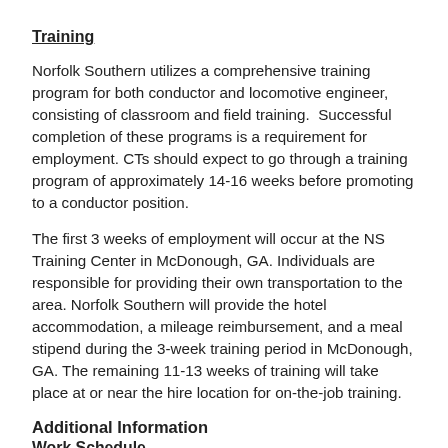Training
Norfolk Southern utilizes a comprehensive training program for both conductor and locomotive engineer, consisting of classroom and field training.  Successful completion of these programs is a requirement for employment. CTs should expect to go through a training program of approximately 14-16 weeks before promoting to a conductor position.
The first 3 weeks of employment will occur at the NS Training Center in McDonough, GA. Individuals are responsible for providing their own transportation to the area. Norfolk Southern will provide the hotel accommodation, a mileage reimbursement, and a meal stipend during the 3-week training period in McDonough, GA. The remaining 11-13 weeks of training will take place at or near the hire location for on-the-job training.
Additional Information
Work Schedule
A CT will expect to work a schedule similar to that of a regular